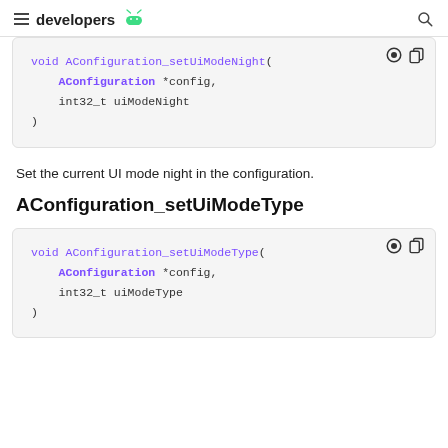developers
[Figure (screenshot): Code block showing: void AConfiguration_setUiModeNight(AConfiguration *config, int32_t uiModeNight)]
Set the current UI mode night in the configuration.
AConfiguration_setUiModeType
[Figure (screenshot): Code block showing: void AConfiguration_setUiModeType(AConfiguration *config, int32_t uiModeType)]